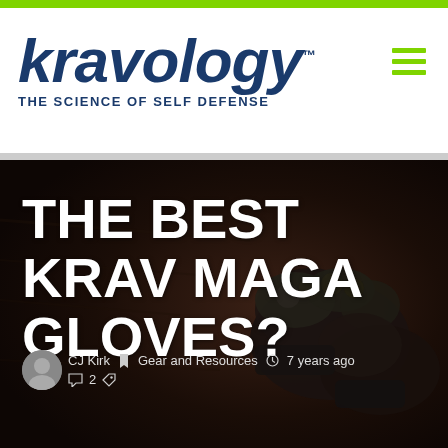[Figure (logo): Kravology logo - THE SCIENCE OF SELF DEFENSE tagline in dark blue, italic bold font]
[Figure (infographic): Hamburger menu icon in lime green with three horizontal bars]
THE BEST KRAV MAGA GLOVES?
CJ Kirk  Gear and Resources  7 years ago  2 comments
[Figure (photo): Dark background photo showing black Krav Maga/boxing gloves]